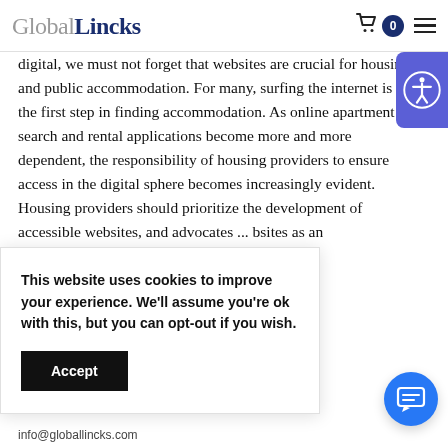GlobalLincks
digital, we must not forget that websites are crucial for housing and public accommodation. For many, surfing the internet is the first step in finding accommodation. As online apartment search and rental applications become more and more dependent, the responsibility of housing providers to ensure access in the digital sphere becomes increasingly evident. Housing providers should prioritize the development of accessible websites, and advocates ... bsites as an ... mination in ... Center
This website uses cookies to improve your experience. We'll assume you're ok with this, but you can opt-out if you wish.
info@globallincks.com